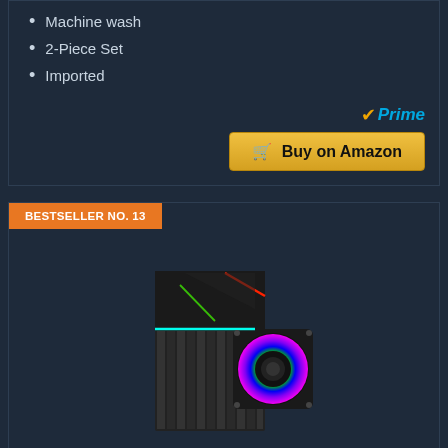Machine wash
2-Piece Set
Imported
[Figure (other): Amazon Prime badge and Buy on Amazon button]
BESTSELLER NO. 13
[Figure (photo): ID-COOLING SE-914-XT ARGB CPU cooler with colorful RGB fan and black heatsink with colored LED accents]
ID-COOLING SE-914-XT ARGB Cooler